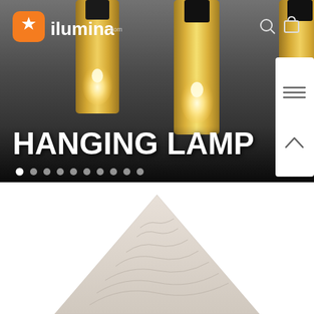[Figure (screenshot): Ilumina website hero banner showing gold hanging pendant lamps against a dark grey background with the text HANGING LAMP in white bold font, slider navigation dots, and a side panel with menu and chevron icons]
[Figure (photo): Bottom portion of webpage showing white background with the top of a geometric diamond/pyramid shaped lamp shade with abstract line patterns]